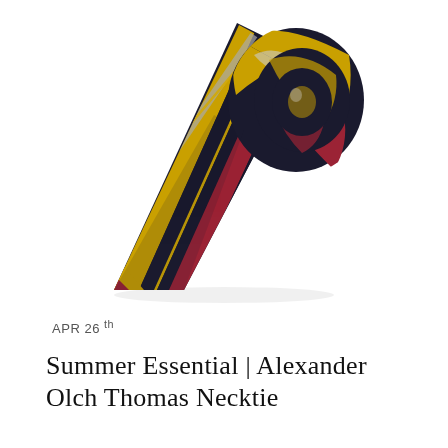[Figure (photo): Rolled striped necktie with black, yellow/gold, red, and gray diagonal stripes, photographed on white background.]
APR 26 th
Summer Essential | Alexander Olch Thomas Necktie